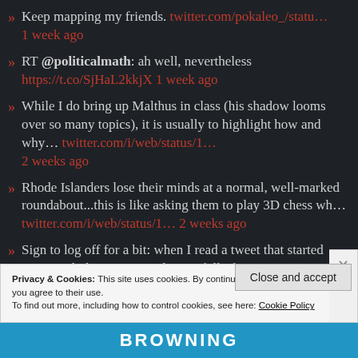Keep mapping my friends. twitter.com/pokaleo_/statu… 1 week ago
RT @politicalmath: ah well, nevertheless https://t.co/SjHaL2kkjX 1 week ago
While I do bring up Malthus in class (his shadow looms over so many topics), it is usually to highlight how and why… twitter.com/i/web/status/1… 2 weeks ago
Rhode Islanders lose their minds at a normal, well-marked roundabout...this is like asking them to play 3D chess wh… twitter.com/i/web/status/1… 2 weeks ago
Sign to log off for a bit: when I read a tweet that started "On peach discourse:" and I was full of opinions. 2 weeks ago
Privacy & Cookies: This site uses cookies. By continuing to use this website, you agree to their use.
To find out more, including how to control cookies, see here: Cookie Policy
Close and accept
BROWNING